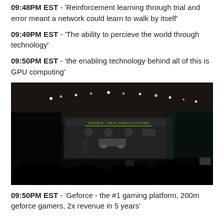09:48PM EST - 'Reinforcement learning through trial and error meant a network could learn to walk by itself'
09:49PM EST - 'The ability to percieve the world through technology'
09:50PM EST - 'the enabling technology behind all of this is GPU computing'
[Figure (photo): Dark conference stage photo showing a presenter on stage in front of a large screen displaying 'GEFORCE - THE #1 GAMING PLATFORM' with logos and a car, audience silhouettes in foreground, stage lighting overhead]
09:50PM EST - 'Geforce - the #1 gaming platform, 200m geforce gamers, 2x revenue in 5 years'